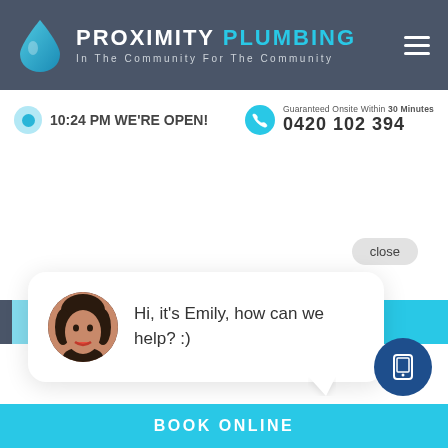PROXIMITY PLUMBING — In The Community For The Community
10:24 PM WE'RE OPEN!
Guaranteed Onsite Within 30 Minutes
0420 102 394
SERVICES / ROOFING
close
Hi, it's Emily, how can we help? :)
BOOK ONLINE